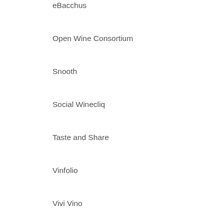eBacchus
Open Wine Consortium
Snooth
Social Winecliq
Taste and Share
Vinfolio
Vivi Vino
Wine 2.0
WineCountry.com
Wines of Yadkin Valley
Videographers ~ Wine Country
One Way Pictures
Purple Grape Media
video4wine